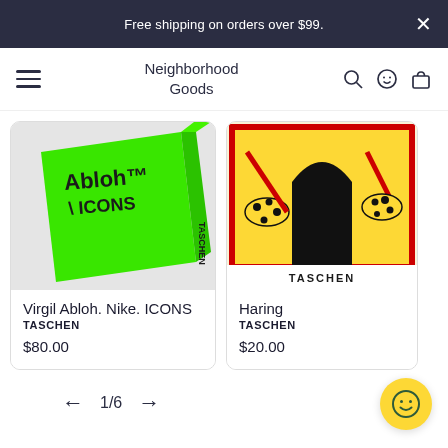Free shipping on orders over $99.
Neighborhood Goods
[Figure (photo): Green hardcover book titled 'Virgil Abloh. Nike. ICONS' by TASCHEN, photographed at an angle showing spine and cover]
Virgil Abloh. Nike. ICONS
TASCHEN
$80.00
[Figure (photo): Colorful art book 'Haring' by TASCHEN showing Keith Haring artwork with yellow, red and black figures]
Haring
TASCHEN
$20.00
1/6